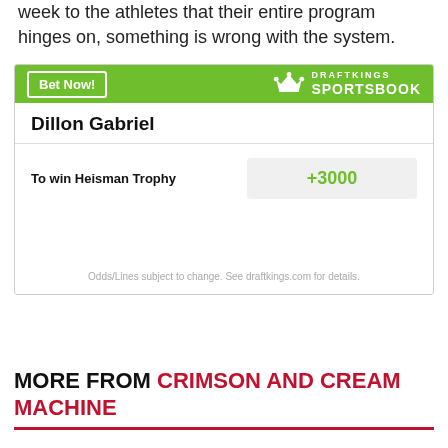week to the athletes that their entire program hinges on, something is wrong with the system.
[Figure (other): DraftKings Sportsbook betting widget for Dillon Gabriel showing odds to win Heisman Trophy at +3000]
MORE FROM CRIMSON AND CREAM MACHINE